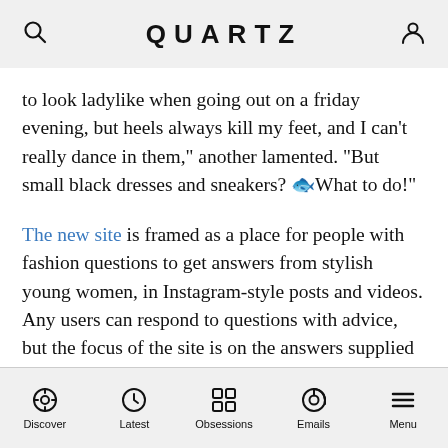QUARTZ
to look ladylike when going out on a friday evening, but heels always kill my feet, and I can’t really dance in them,” another lamented. “But small black dresses and sneakers? 😟What to do!”
The new site is framed as a place for people with fashion questions to get answers from stylish young women, in Instagram-style posts and videos. Any users can respond to questions with advice, but the focus of the site is on the answers supplied by Itsapark’s roster of what it calls “content creators.”
Discover | Latest | Obsessions | Emails | Menu